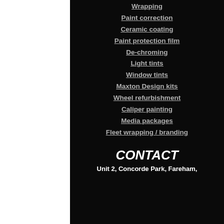Wrapping
Paint correction
Ceramic coating
Paint protection film
De-chroming
Light tints
Window tints
Maxton Design kits
Wheel refurbishment
Caliper painting
Media packages
Fleet wrapping / branding
CONTACT
Unit 2, Concorde Park, Fareham,